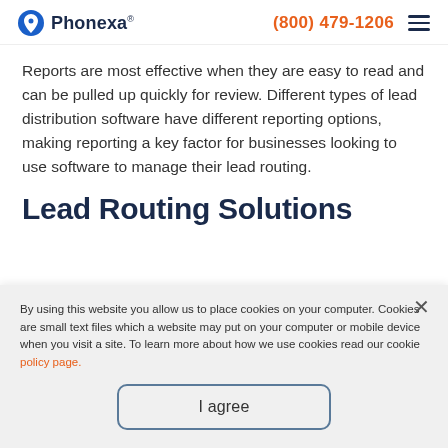Phonexa (800) 479-1206
Reports are most effective when they are easy to read and can be pulled up quickly for review. Different types of lead distribution software have different reporting options, making reporting a key factor for businesses looking to use software to manage their lead routing.
Lead Routing Solutions
By using this website you allow us to place cookies on your computer. Cookies are small text files which a website may put on your computer or mobile device when you visit a site. To learn more about how we use cookies read our cookie policy page.
I agree